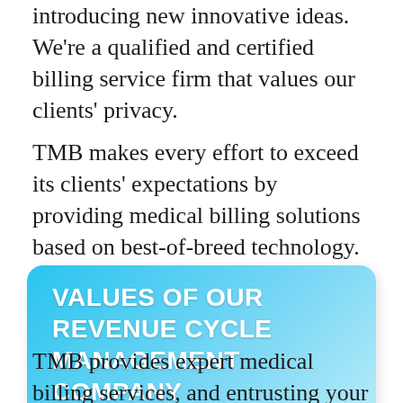introducing new innovative ideas. We're a qualified and certified billing service firm that values our clients' privacy.
TMB makes every effort to exceed its clients' expectations by providing medical billing solutions based on best-of-breed technology.
VALUES OF OUR REVENUE CYCLE MANAGEMENT COMPANY
TMB provides expert medical billing services, and entrusting your bills and coding requirements to us will benefit you in a variety